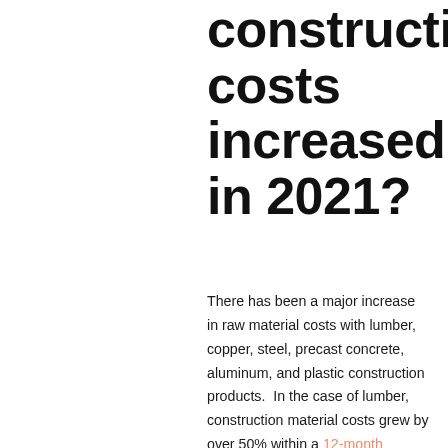construction costs increased in 2021?
There has been a major increase in raw material costs with lumber, copper, steel, precast concrete, aluminum, and plastic construction products. In the case of lumber, construction material costs grew by over 50% within a 12-month period. While this actually de...